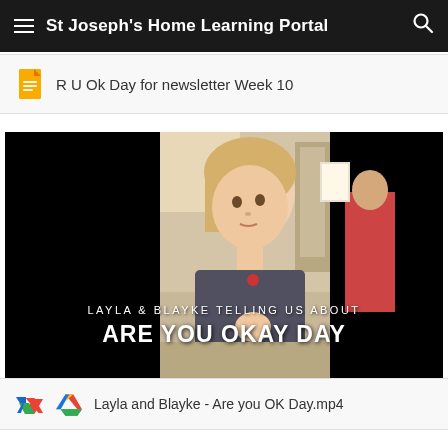St Joseph's Home Learning Portal
R U Ok Day for newsletter Week 10
[Figure (screenshot): Video thumbnail showing a student in a classroom with text overlay: LAYLA & BLAYKE TELLING US ABOUT ARE YOU OKAY DAY]
Layla and Blayke - Are you OK Day.mp4